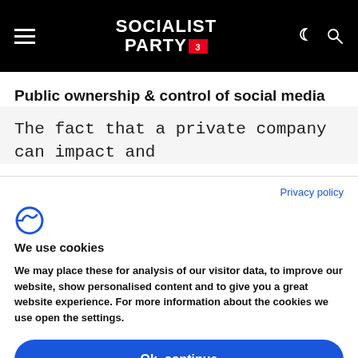Socialist Party
Public ownership & control of social media
The fact that a private company can impact and
Privacy policy
We use cookies
We may place these for analysis of our visitor data, to improve our website, show personalised content and to give you a great website experience. For more information about the cookies we use open the settings.
Ok, continue
Deny
No, adjust